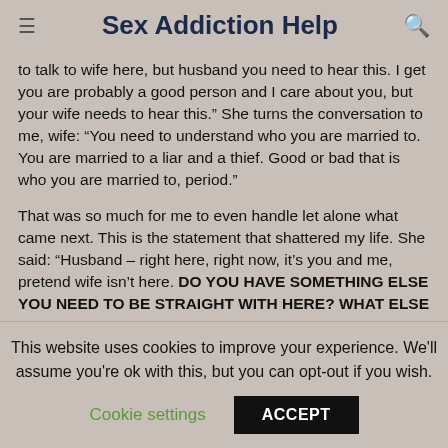Sex Addiction Help
to talk to wife here, but husband you need to hear this. I get you are probably a good person and I care about you, but your wife needs to hear this.”  She turns the conversation to me, wife: “You need to understand who you are married to. You are married to a liar and a thief.  Good or bad that is who you are married to, period.”
That was so much for me to even handle let alone what came next.  This is the statement that shattered my life.  She said: “Husband – right here, right now, it’s you and me, pretend wife isn’t here.  DO YOU HAVE SOMETHING ELSE YOU NEED TO BE STRAIGHT WITH HERE? WHAT ELSE DO YOU NEED TO TELL US RIGHT NOW?...
This website uses cookies to improve your experience. We'll assume you're ok with this, but you can opt-out if you wish.
Cookie settings
ACCEPT